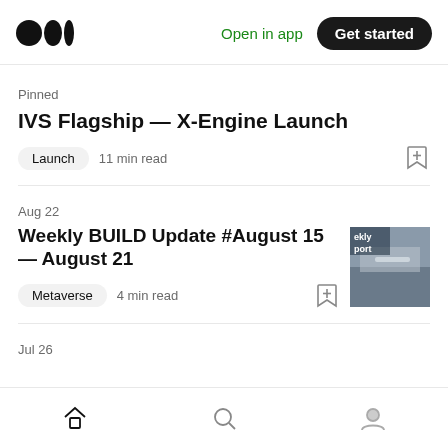Medium logo | Open in app | Get started
Pinned
IVS Flagship — X-Engine Launch
Launch  11 min read
Aug 22
Weekly BUILD Update #August 15— August 21
Metaverse  4 min read
Jul 26
Home | Search | Profile